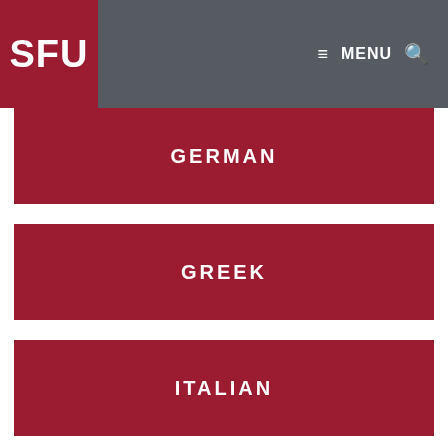SFU MENU
GERMAN
GREEK
ITALIAN
JAPANESE
PUNJABI